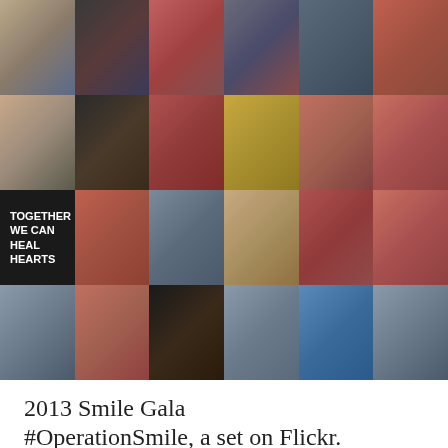[Figure (photo): 4x6 grid of red carpet event photos from the 2013 Smile Gala #OperationSmile event, showing various attendees in formal wear, mostly featuring people in red/coral dresses against event backdrops. One panel shows a sign reading 'TOGETHER WE CAN HEAL HEARTS'.]
2013 Smile Gala #OperationSmile, a set on Flickr.
Mingle Media TV's Red Carpet Report and host, Brandi Sherwood, covers the 2013 Smile Gala and...